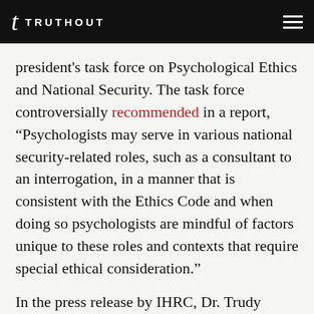TRUTHOUT
president's task force on Psychological Ethics and National Security. The task force controversially recommended in a report, “Psychologists may serve in various national security-related roles, such as a consultant to an interrogation, in a manner that is consistent with the Ethics Code and when doing so psychologists are mindful of factors unique to these roles and contexts that require special ethical consideration.”
In the press release by IHRC, Dr. Trudy Bond, a